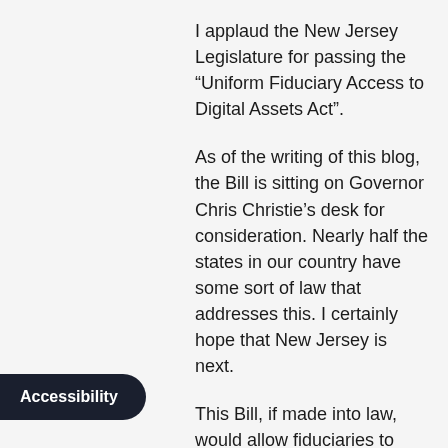I applaud the New Jersey Legislature for passing the “Uniform Fiduciary Access to Digital Assets Act”.
As of the writing of this blog, the Bill is sitting on Governor Chris Christie’s desk for consideration. Nearly half the states in our country have some sort of law that addresses this. I certainly hope that New Jersey is next.
This Bill, if made into law, would allow fiduciaries to manage digital property, but restricts a fiduciary’s access to electronic communications such as email, text messages and social media accounts unless the original consented in a Will, Trust, Power of Attorney or other record.